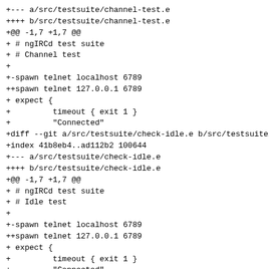+--- a/src/testsuite/channel-test.e
++++ b/src/testsuite/channel-test.e
+@@ -1,7 +1,7 @@
+ # ngIRCd test suite
+ # Channel test
++
++-spawn telnet localhost 6789
+++spawn telnet 127.0.0.1 6789
++ expect {
++         timeout { exit 1 }
++         "Connected"
++diff --git a/src/testsuite/check-idle.e b/src/testsuite/
++index 41b8eb4..ad112b2 100644
++--- a/src/testsuite/check-idle.e
++++  b/src/testsuite/check-idle.e
++@@ -1,7 +1,7 @@
++ # ngIRCd test suite
++ # Idle test
++
++-spawn telnet localhost 6789
+++spawn telnet 127.0.0.1 6789
++ expect {
++         timeout { exit 1 }
++         "Connected"
++diff --git a/src/testsuite/connect-test.e b/src/testsuit
++index 662f5f7..b51be0d 100644
++--- a/src/testsuite/connect-test.e
++++  b/src/testsuite/connect-test.e
++@@ -1,7 +1,7 @@
++ # ngIRCd test suite